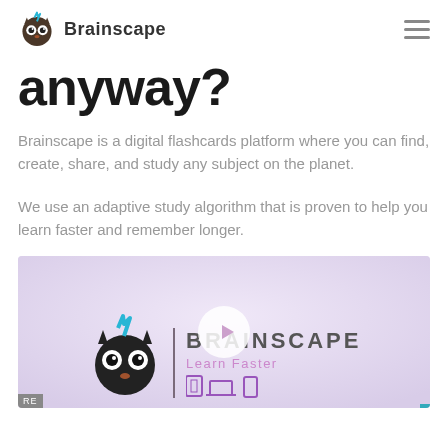Brainscape
anyway?
Brainscape is a digital flashcards platform where you can find, create, share, and study any subject on the planet.
We use an adaptive study algorithm that is proven to help you learn faster and remember longer.
[Figure (screenshot): Video thumbnail showing the Brainscape logo with a cartoon owl mascot, a vertical divider, the text BRAINSCAPE and Learn Faster, icons of tablet, laptop, and phone at the bottom, and a play button overlay in the center.]